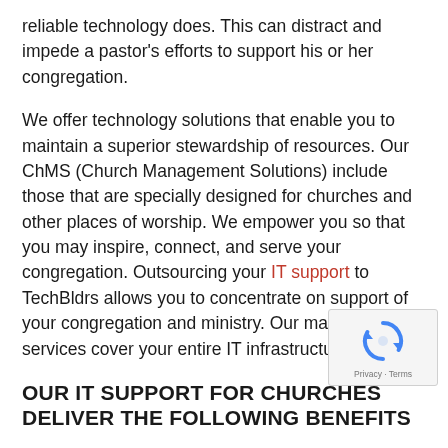reliable technology does. This can distract and impede a pastor's efforts to support his or her congregation.
We offer technology solutions that enable you to maintain a superior stewardship of resources. Our ChMS (Church Management Solutions) include those that are specially designed for churches and other places of worship. We empower you so that you may inspire, connect, and serve your congregation. Outsourcing your IT support to TechBldrs allows you to concentrate on support of your congregation and ministry. Our managed services cover your entire IT infrastructure.
[Figure (other): reCAPTCHA badge showing rotating arrows icon with 'Privacy - Terms' text]
OUR IT SUPPORT FOR CHURCHES DELIVER THE FOLLOWING BENEFITS